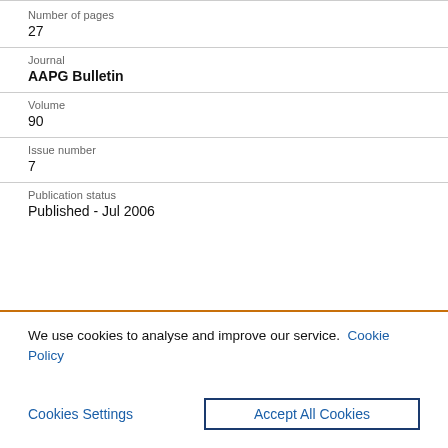Number of pages
27
Journal
AAPG Bulletin
Volume
90
Issue number
7
Publication status
Published - Jul 2006
We use cookies to analyse and improve our service. Cookie Policy
Cookies Settings
Accept All Cookies